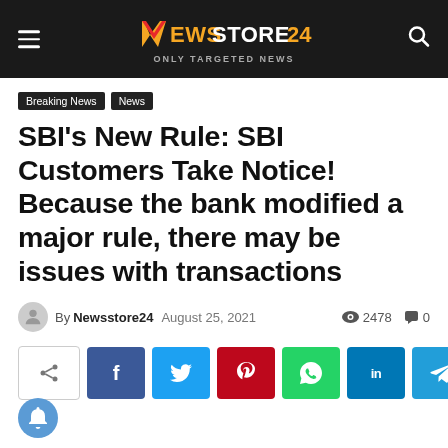NEWS STORE24 — ONLY TARGETED NEWS
Breaking News | News
SBI's New Rule: SBI Customers Take Notice! Because the bank modified a major rule, there may be issues with transactions
By Newsstore24  August 25, 2021  👁 2478  💬 0